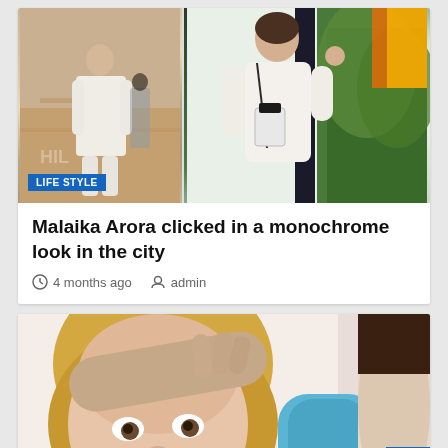[Figure (photo): Two photos of Malaika Arora in white monochrome outfit in the city. Left photo shows full body standing, right photo shows closer shot holding a bag.]
LIFE STYLE
Malaika Arora clicked in a monochrome look in the city
4 months ago   admin
[Figure (photo): Sick child with blonde hair touching forehead with hand, wearing blue shirt, with thermometer in mouth. White background.]